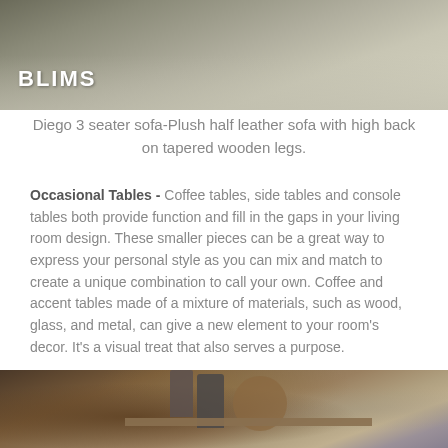[Figure (photo): Top portion of a beige/cream textured rug on a dark floor, with BLIMS logo/brand name in white bold text in the lower left corner]
Diego 3 seater sofa-Plush half leather sofa with high back on tapered wooden legs.
Occasional Tables - Coffee tables, side tables and console tables both provide function and fill in the gaps in your living room design. These smaller pieces can be a great way to express your personal style as you can mix and match to create a unique combination to call your own. Coffee and accent tables made of a mixture of materials, such as wood, glass, and metal, can give a new element to your room's decor. It's a visual treat that also serves a purpose.
[Figure (photo): Close-up of a brown leather sofa with a wooden console table behind it, holding decorative vases and objects, with grey curtains in the background]